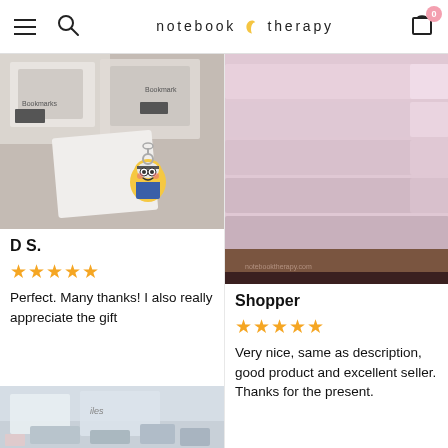notebook therapy
[Figure (photo): Product photo showing bookmark packages and a minion keychain on white surface]
D S.
★★★★★
Perfect. Many thanks! I also really appreciate the gift
[Figure (photo): Product photo showing pink/lavender layered notepad pages and packaging]
Shopper
★★★★★
Very nice, same as description, good product and excellent seller. Thanks for the present.
[Figure (photo): Partial product photo at bottom left showing packaged stationery items]